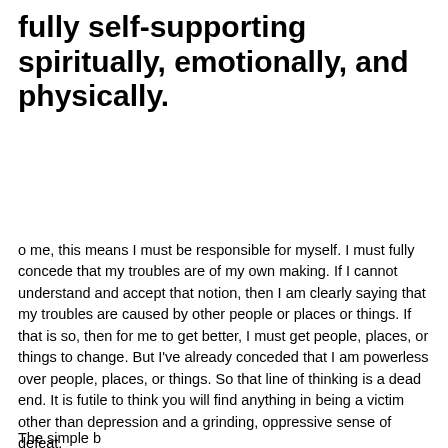fully self-supporting spiritually, emotionally, and physically.
o me, this means I must be responsible for myself. I must fully concede that my troubles are of my own making. If I cannot understand and accept that notion, then I am clearly saying that my troubles are caused by other people or places or things. If that is so, then for me to get better, I must get people, places, or things to change. But I've already conceded that I am powerless over people, places, or things. So that line of thinking is a dead end. It is futile to think you will find anything in being a victim other than depression and a grinding, oppressive sense of defeat.
The simple but the issue of contable and most state b...